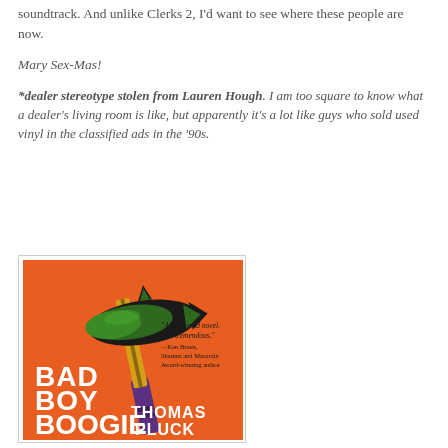soundtrack. And unlike Clerks 2, I'd want to see where these people are now.
Mary Sex-Mas!
*dealer stereotype stolen from Lauren Hough. I am too square to know what a dealer's living room is like, but apparently it's a lot like guys who sold used vinyl in the classified ads in the '90s.
[Figure (illustration): Book cover for 'Bad Boy Boogie' by Thomas Pluck, featuring a green axe on an orange background with a quote from Ken Bruen.]